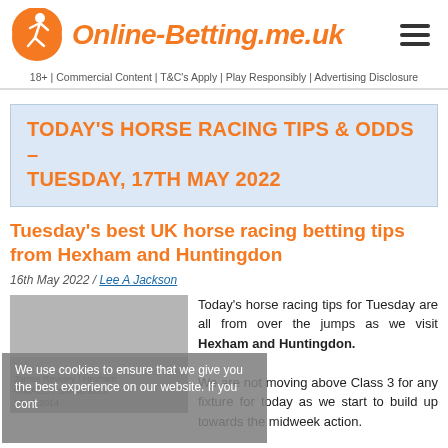Online-Betting.me.uk
18+ | Commercial Content | T&C's Apply | Play Responsibly | Advertising Disclosure
TODAY'S HORSE RACING TIPS & ODDS – TUESDAY, 17TH MAY 2022
Tuesday's best UK horse racing betting tips from Hexham and Huntingdon
16th May 2022 / Lee A Jackson
[Figure (photo): James Reveley at Hexham, photo credit: ©IMAGO / Shutterstock 10.12.2014]
Today's horse racing tips for Tuesday are all from over the jumps as we visit Hexham and Huntingdon. We are not moving above Class 3 for any fixture for today as we start to build up towards the midweak action.
We use cookies to ensure that we give you the best experience on our website. If you continue to use this site we will assume that you are happy with it.